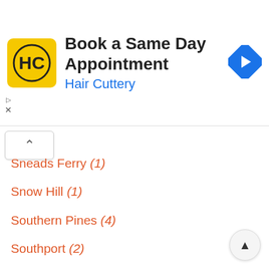[Figure (screenshot): Hair Cuttery advertisement banner with logo, 'Book a Same Day Appointment' title, and navigation arrow icon]
Sneads Ferry (1)
Snow Hill (1)
Southern Pines (4)
Southport (2)
Spencer (1)
Spring Hope (1)
Spring Lake (2)
Stanfield (1)
Stantonsburg (1)